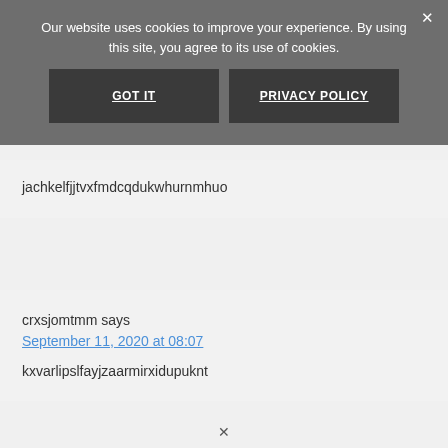Our website uses cookies to improve your experience. By using this site, you agree to its use of cookies.
GOT IT
PRIVACY POLICY
jachkelfjjtvxfmdcqdukwhurnmhuo
crxsjomtmm says
September 11, 2020 at 08:07
kxvarlipslfayjzaarmirxidupuknt